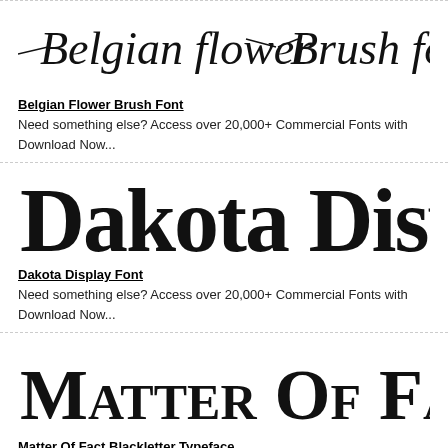[Figure (illustration): Belgian Flower Brush Font preview image showing the font name in cursive brush style]
Belgian Flower Brush Font
Need something else? Access over 20,000+ Commercial Fonts with Download Now...
[Figure (illustration): Dakota Display Font preview image showing the font name in large bold display style]
Dakota Display Font
Need something else? Access over 20,000+ Commercial Fonts with Download Now...
[Figure (illustration): Matter Of Fact Blackletter Typeface preview image showing the font name in blackletter style]
Matter Of Fact Blackletter Typeface
Need something else? Access over 20,000+ Commercial Fonts with Download Now...